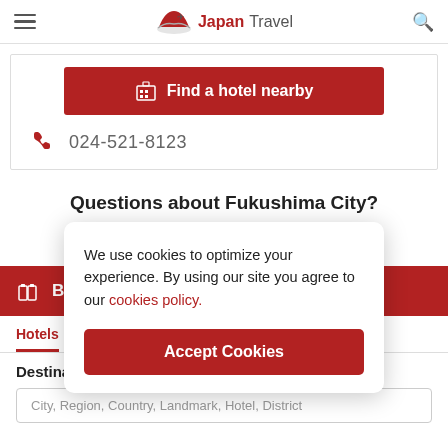Japan Travel
[Figure (other): Find a hotel nearby button (dark red/crimson) with building icon]
024-521-8123
Questions about Fukushima City?
Ask our community
Book y[our trip]
Hotels
Destination
City, Region, Country, Landmark, Hotel, District
We use cookies to optimize your experience. By using our site you agree to our cookies policy.
Accept Cookies